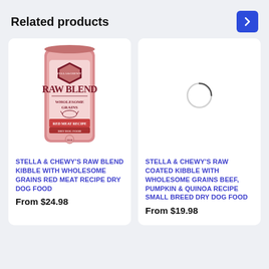Related products
[Figure (illustration): Product image: Pink bag of Stella & Chewy's Raw Blend Kibble with Wholesome Grains Red Meat Recipe Dry Dog Food]
STELLA & CHEWY'S RAW BLEND KIBBLE WITH WHOLESOME GRAINS RED MEAT RECIPE DRY DOG FOOD
From $24.98
[Figure (illustration): Loading spinner/circle indicating product image is loading for Stella & Chewy's Raw Coated Kibble with Wholesome Grains Beef, Pumpkin & Quinoa Recipe Small Breed Dry Dog Food]
STELLA & CHEWY'S RAW COATED KIBBLE WITH WHOLESOME GRAINS BEEF, PUMPKIN & QUINOA RECIPE SMALL BREED DRY DOG FOOD
From $19.98